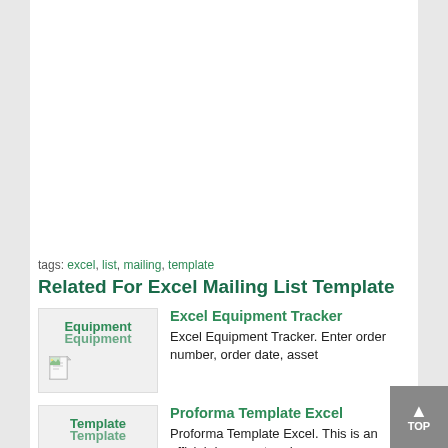tags: excel, list, mailing, template
Related For Excel Mailing List Template
[Figure (screenshot): Thumbnail image for Excel Equipment Tracker with overlapping text label 'Equipment']
Excel Equipment Tracker
Excel Equipment Tracker. Enter order number, order date, asset
[Figure (screenshot): Thumbnail image for Proforma Template Excel with overlapping text label 'Template']
Proforma Template Excel
Proforma Template Excel. This is an official document and